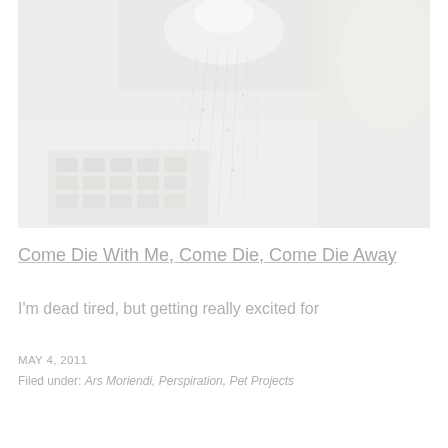[Figure (photo): A faded, washed-out photograph showing water droplets falling from a shower head, with a blurry background featuring a keyboard-like object in the lower left. The image is very light and desaturated, appearing almost white.]
Come Die With Me, Come Die, Come Die Away
I'm dead tired, but getting really excited for
MAY 4, 2011
Filed under: Ars Moriendi, Perspiration, Pet Projects